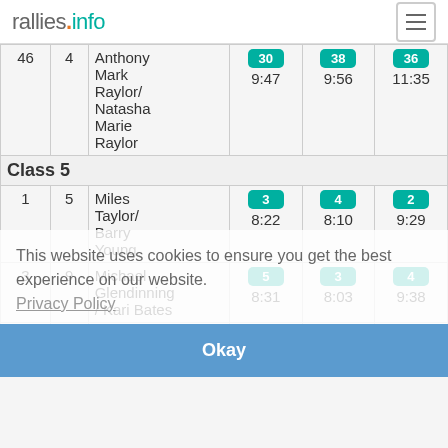rallies.info
| Rank | Class | Name | Stage 30 | Stage 38 | Stage 36 |
| --- | --- | --- | --- | --- | --- |
| 46 | 4 | Anthony Mark Raylor/ Natasha Marie Raylor | 30 9:47 | 38 9:56 | 36 11:35 |
| Class 5 |  |  |  |  |  |
| 1 | 5 | Miles Taylor/ Barry Young | 3 8:22 | 4 8:10 | 2 9:29 |
| 3 | 9 | Michael Glendinning / Kari Bates | 5 8:31 | 3 8:03 | 4 9:38 |
| 6 | 5 | Phil Gallagher / | 4 8:30 | 6 8:12 | 5 9:41 |
This website uses cookies to ensure you get the best experience on our website. Privacy Policy
Okay